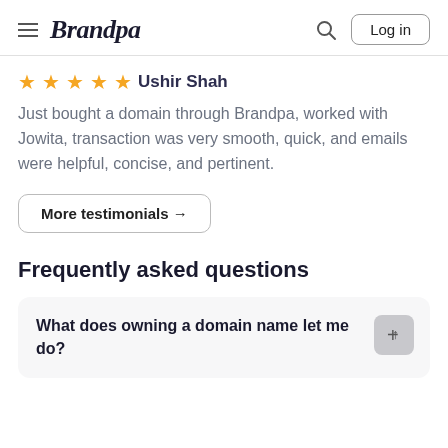Brandpa | Log in
★★★★★ Ushir Shah
Just bought a domain through Brandpa, worked with Jowita, transaction was very smooth, quick, and emails were helpful, concise, and pertinent.
More testimonials →
Frequently asked questions
What does owning a domain name let me do?